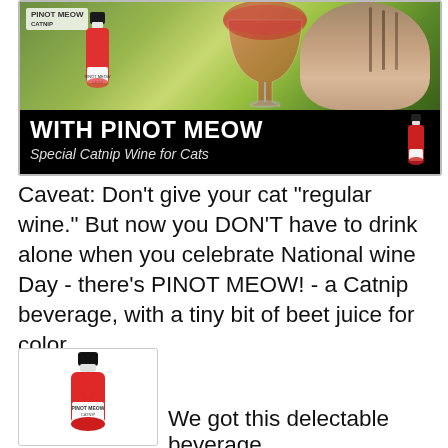[Figure (photo): Advertisement image for Pinot Meow catnip wine. Top portion shows a cat with a large red wine glass outdoors with yellow flowers. Bottom black banner reads 'WITH PINOT MEOW' and 'Special Catnip Wine for Cats' with a small bottle illustration.]
Caveat:  Don't give your cat "regular wine."  But now you DON'T have to drink alone when you celebrate National wine Day - there's PINOT MEOW! - a Catnip beverage, with a tiny bit of beet juice for color.
[Figure (photo): Product photo of Pinot Meow bottle - a small red wine bottle with black cap and white label showing the Pinot Meow Catnip branding with cat and wine glass illustration.]
We got this delectable beverage